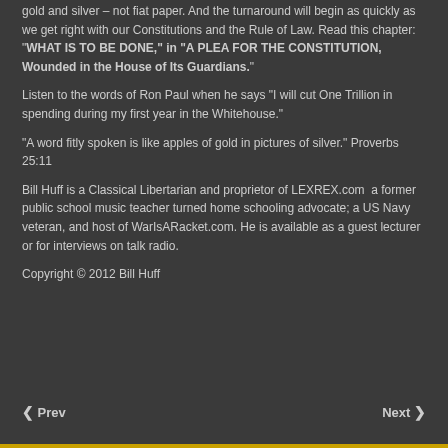gold and silver – not fiat paper. And the turnaround will begin as quickly as we get right with our Constitutions and the Rule of Law. Read this chapter: "WHAT IS TO BE DONE," in "A PLEA FOR THE CONSTITUTION, Wounded in the House of Its Guardians."
Listen to the words of Ron Paul when he says "I will cut One Trillion in spending during my first year in the Whitehouse."
"A word fitly spoken is like apples of gold in pictures of silver." Proverbs 25:11
Bill Huff is a Classical Libertarian and proprietor of LEXREX.com  a former public school music teacher turned home schooling advocate; a US Navy veteran, and host of WarIsARacket.com. He is available as a guest lecturer or for interviews on talk radio.
Copyright © 2012 Bill Huff
◄ Prev    Next ►